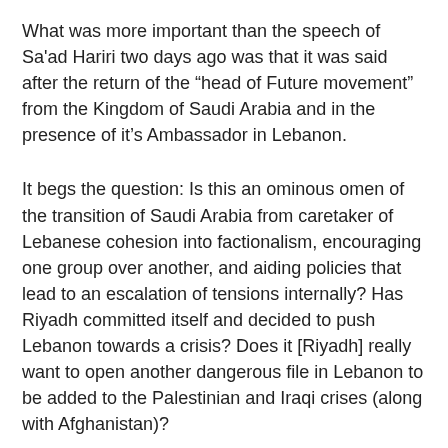What was more important than the speech of Sa'ad Hariri two days ago was that it was said after the return of the “head of Future movement” from the Kingdom of Saudi Arabia and in the presence of it’s Ambassador in Lebanon.
It begs the question: Is this an ominous omen of the transition of Saudi Arabia from caretaker of Lebanese cohesion into factionalism, encouraging one group over another, and aiding policies that lead to an escalation of tensions internally? Has Riyadh committed itself and decided to push Lebanon towards a crisis? Does it [Riyadh] really want to open another dangerous file in Lebanon to be added to the Palestinian and Iraqi crises (along with Afghanistan)?
These questions would all have been circumstantial and without substance had it not been for clear indications which show any complacency to be naïve to say the least.